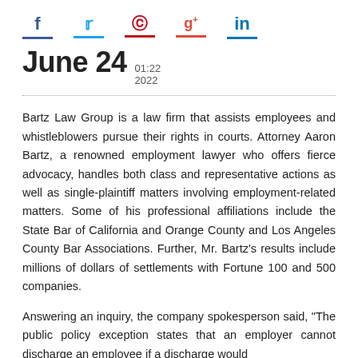[Figure (other): Social media sharing icons: Facebook (f), Twitter bird, Pinterest (p), Google+ (g+), LinkedIn (in), each with a colored underline bar]
June 24  01:22  2022
Bartz Law Group is a law firm that assists employees and whistleblowers pursue their rights in courts. Attorney Aaron Bartz, a renowned employment lawyer who offers fierce advocacy, handles both class and representative actions as well as single-plaintiff matters involving employment-related matters. Some of his professional affiliations include the State Bar of California and Orange County and Los Angeles County Bar Associations. Further, Mr. Bartz’s results include millions of dollars of settlements with Fortune 100 and 500 companies.
Answering an inquiry, the company spokesperson said, “The public policy exception states that an employer cannot discharge an employee if a discharge would